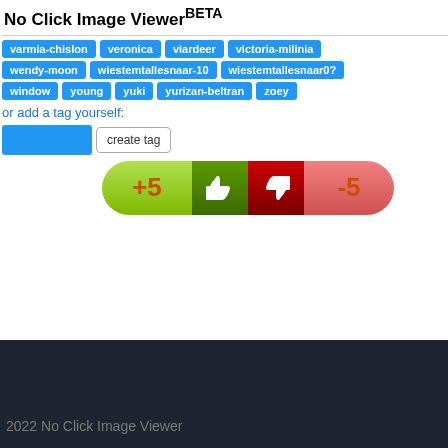No Click Image ViewerBETA
varmia-chislon, veronica, viardeer, victoria-milinia
wendy-moon, wiestemtallesnaar-10, wiestemtallesnaar0?
window, young, yuki, yurizan-beltran, zoey
or add a tag yourself:
[Figure (screenshot): Tag input field and create tag button, with a vote bar showing +5 thumbs up, thumbs down, -5]
2022 No Click Image Viewer